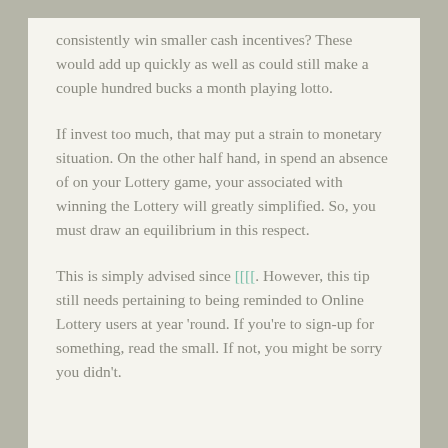consistently win smaller cash incentives? These would add up quickly as well as could still make a couple hundred bucks a month playing lotto.
If invest too much, that may put a strain to monetary situation. On the other half hand, in spend an absence of on your Lottery game, your associated with winning the Lottery will greatly simplified. So, you must draw an equilibrium in this respect.
This is simply advised since [unicode chars]. However, this tip still needs pertaining to being reminded to Online Lottery users at year 'round. If you're to sign-up for something, read the small. If not, you might be sorry you didn't.